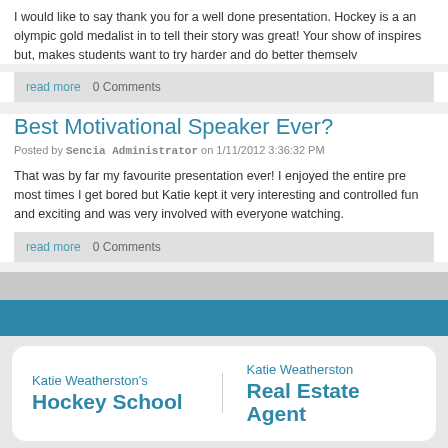I would like to say thank you for a well done presentation. Hockey is a an olympic gold medalist in to tell their story was great! Your show of inspires but, makes students want to try harder and do better themselv
read more  0 Comments
Best Motivational Speaker Ever?
Posted by Sencia Administrator on 1/11/2012 3:36:32 PM
That was by far my favourite presentation ever! I enjoyed the entire pre most times I get bored but Katie kept it very interesting and controlled fun and exciting and was very involved with everyone watching.
read more  0 Comments
Katie Weatherston's Hockey School
Katie Weatherston Real Estate Agent